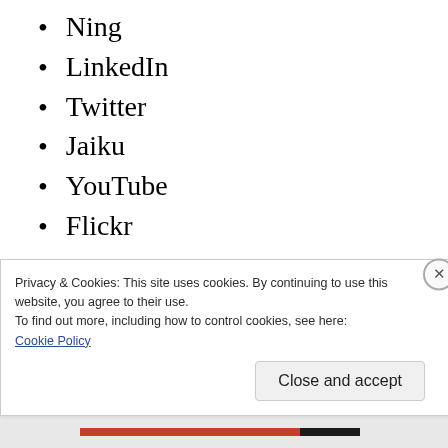Ning
LinkedIn
Twitter
Jaiku
YouTube
Flickr
Music
Cultural dimensions of music
Privacy & Cookies: This site uses cookies. By continuing to use this website, you agree to their use.
To find out more, including how to control cookies, see here:
Cookie Policy
Close and accept